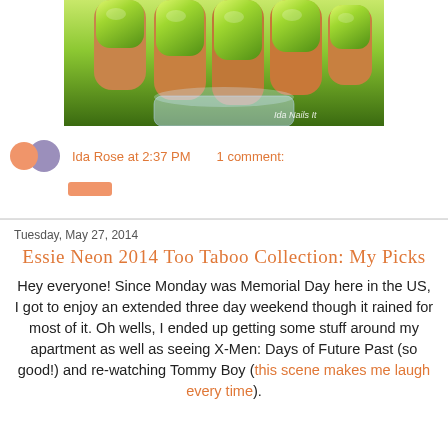[Figure (photo): Close-up photo of a hand with bright lime/neon green nail polish, holding a clear nail polish bottle. Watermark reads 'Ida Nails It' in bottom right corner.]
Ida Rose at 2:37 PM   1 comment:
[Post a Comment button]
Tuesday, May 27, 2014
Essie Neon 2014 Too Taboo Collection: My Picks
Hey everyone! Since Monday was Memorial Day here in the US, I got to enjoy an extended three day weekend though it rained for most of it. Oh wells, I ended up getting some stuff around my apartment as well as seeing X-Men: Days of Future Past (so good!) and re-watching Tommy Boy (this scene makes me laugh every time).